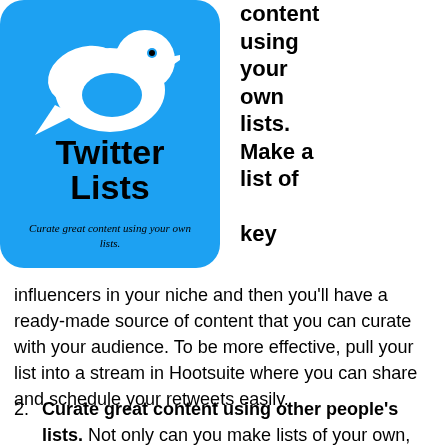[Figure (illustration): Twitter Lists logo: light blue rounded rectangle with white Twitter bird icon, 'Twitter Lists' in bold black text, and italic subtitle 'Curate great content using your own lists.']
content using your own lists. Make a list of key influencers in your niche and then you'll have a ready-made source of content that you can curate with your audience. To be more effective, pull your list into a stream in Hootsuite where you can share and schedule your retweets easily.
2. Curate great content using other people's lists. Not only can you make lists of your own,